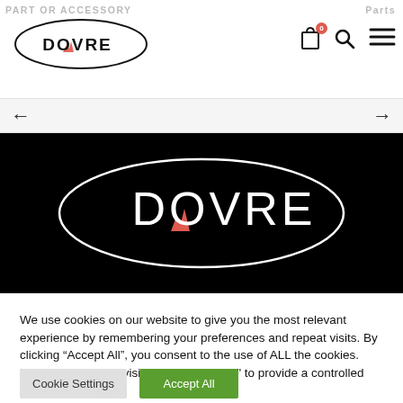PART OR ACCESSORY | Parts
[Figure (logo): Dovre logo: oval outline with DOVRE text and small flame icon, black on white]
[Figure (photo): Hero banner: black background with white oval outline containing DOVRE logo text and red flame icon in white letters]
We use cookies on our website to give you the most relevant experience by remembering your preferences and repeat visits. By clicking “Accept All”, you consent to the use of ALL the cookies. However, you may visit "Cookie Settings" to provide a controlled consent.
Cookie Settings | Accept All